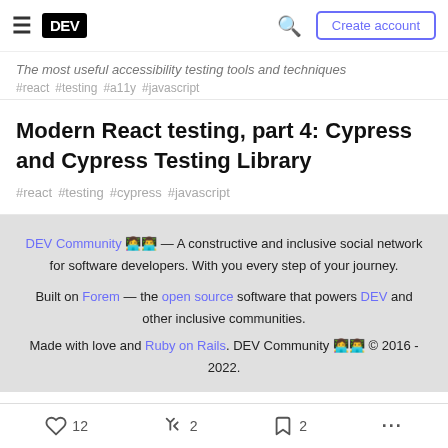DEV — Create account
The most useful accessibility testing tools and techniques
#react #testing #a11y #javascript
Modern React testing, part 4: Cypress and Cypress Testing Library
#react #testing #cypress #javascript
DEV Community 👩‍💻👨‍💻 — A constructive and inclusive social network for software developers. With you every step of your journey.
Built on Forem — the open source software that powers DEV and other inclusive communities.
Made with love and Ruby on Rails. DEV Community 👩‍💻👨‍💻 © 2016 - 2022.
12  2  2  ...